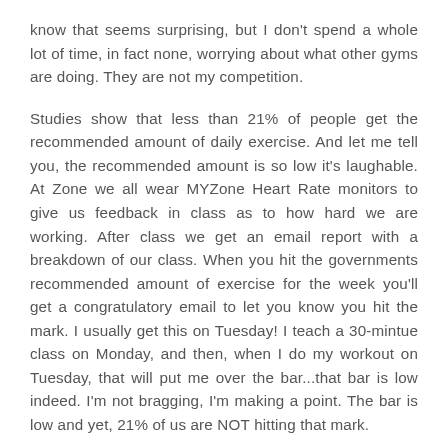know that seems surprising, but I don't spend a whole lot of time, in fact none, worrying about what other gyms are doing. They are not my competition.
Studies show that less than 21% of people get the recommended amount of daily exercise. And let me tell you, the recommended amount is so low it's laughable. At Zone we all wear MYZone Heart Rate monitors to give us feedback in class as to how hard we are working. After class we get an email report with a breakdown of our class. When you hit the governments recommended amount of exercise for the week you'll get a congratulatory email to let you know you hit the mark. I usually get this on Tuesday! I teach a 30-mintue class on Monday, and then, when I do my workout on Tuesday, that will put me over the bar...that bar is low indeed. I'm not bragging, I'm making a point. The bar is low and yet, 21% of us are NOT hitting that mark.